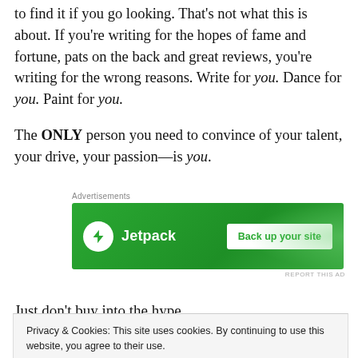to find it if you go looking. That's not what this is about. If you're writing for the hopes of fame and fortune, pats on the back and great reviews, you're writing for the wrong reasons. Write for you. Dance for you. Paint for you.
The ONLY person you need to convince of your talent, your drive, your passion—is you.
[Figure (other): Jetpack advertisement banner with green background, Jetpack logo (lightning bolt icon), and 'Back up your site' button]
Just don't buy into the hype.
Privacy & Cookies: This site uses cookies. By continuing to use this website, you agree to their use. To find out more, including how to control cookies, see here: Cookie Policy